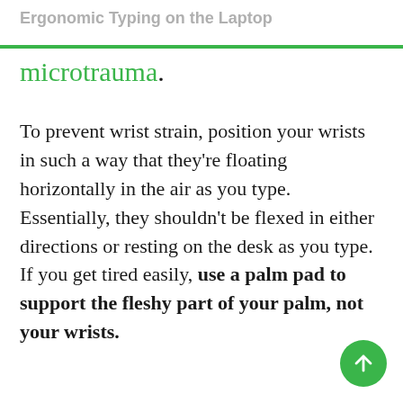Ergonomic Typing on the Laptop
microtrauma.
To prevent wrist strain, position your wrists in such a way that they're floating horizontally in the air as you type. Essentially, they shouldn't be flexed in either directions or resting on the desk as you type. If you get tired easily, use a palm pad to support the fleshy part of your palm, not your wrists.